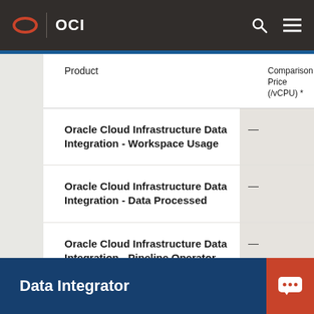OCI
| Product | Comparison Price (/vCPU) * |
| --- | --- |
| Oracle Cloud Infrastructure Data Integration - Workspace Usage | — |
| Oracle Cloud Infrastructure Data Integration - Data Processed | — |
| Oracle Cloud Infrastructure Data Integration - Pipeline Operator Execution | — |
Data Integrator